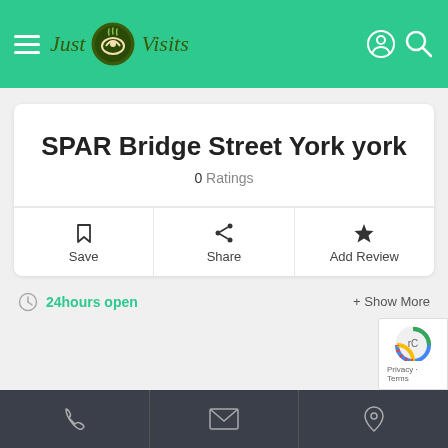Just Visits
SPAR Bridge Street York york
0 Ratings
Save
Share
Add Review
24hours open
+ Show More
Phone | Email | Location